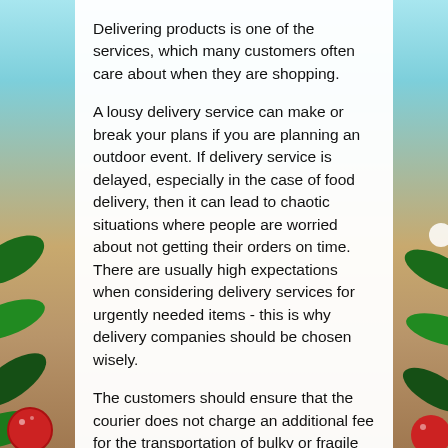Delivering products is one of the services, which many customers often care about when they are shopping.
A lousy delivery service can make or break your plans if you are planning an outdoor event. If delivery service is delayed, especially in the case of food delivery, then it can lead to chaotic situations where people are worried about not getting their orders on time. There are usually high expectations when considering delivery services for urgently needed items - this is why delivery companies should be chosen wisely.
The customers should ensure that the courier does not charge an additional fee for the transportation of bulky or fragile winning products. In addition, they must check for any additional charges for Sunday or nighttime